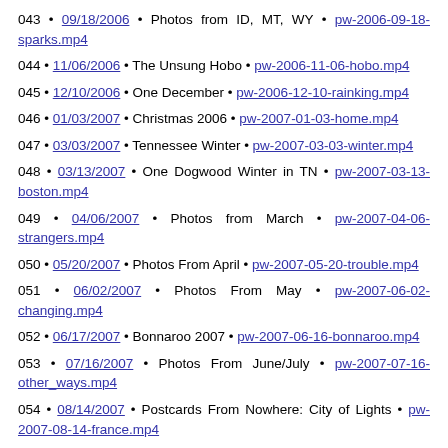043 • 09/18/2006 • Photos from ID, MT, WY • pw-2006-09-18-sparks.mp4
044 • 11/06/2006 • The Unsung Hobo • pw-2006-11-06-hobo.mp4
045 • 12/10/2006 • One December • pw-2006-12-10-rainking.mp4
046 • 01/03/2007 • Christmas 2006 • pw-2007-01-03-home.mp4
047 • 03/03/2007 • Tennessee Winter • pw-2007-03-03-winter.mp4
048 • 03/13/2007 • One Dogwood Winter in TN • pw-2007-03-13-boston.mp4
049 • 04/06/2007 • Photos from March • pw-2007-04-06-strangers.mp4
050 • 05/20/2007 • Photos From April • pw-2007-05-20-trouble.mp4
051 • 06/02/2007 • Photos From May • pw-2007-06-02-changing.mp4
052 • 06/17/2007 • Bonnaroo 2007 • pw-2007-06-16-bonnaroo.mp4
053 • 07/16/2007 • Photos From June/July • pw-2007-07-16-other_ways.mp4
054 • 08/14/2007 • Postcards From Nowhere: City of Lights • pw-2007-08-14-france.mp4